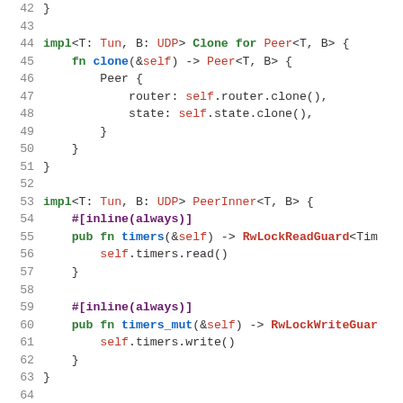Rust source code listing, lines 42–68, showing impl blocks for Clone, PeerInner, and fmt::Display traits on Peer<T, B>